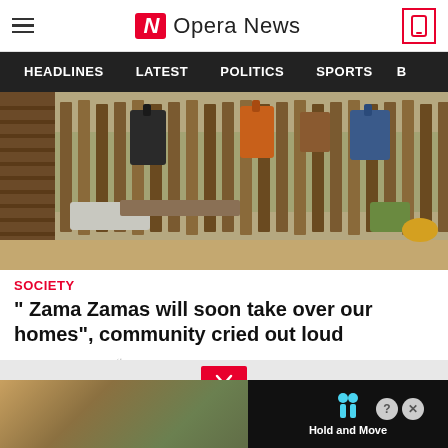Opera News
HEADLINES   LATEST   POLITICS   SPORTS
[Figure (photo): Clothing hanging on a wooden fence next to a log wall, with sandy ground below]
SOCIETY
" Zama Zamas will soon take over our homes", community cried out loud
18 minutes ago  🔥 3
[Figure (screenshot): Bottom advertisement strip with Hold and Move game ad and scroll button]